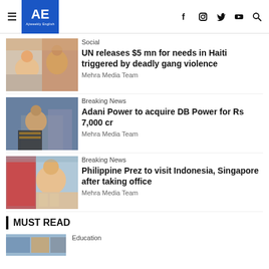AE Ajiweekly English
Social
UN releases $5 mn for needs in Haiti triggered by deadly gang violence
Mehra Media Team
Breaking News
Adani Power to acquire DB Power for Rs 7,000 cr
Mehra Media Team
Breaking News
Philippine Prez to visit Indonesia, Singapore after taking office
Mehra Media Team
MUST READ
Education